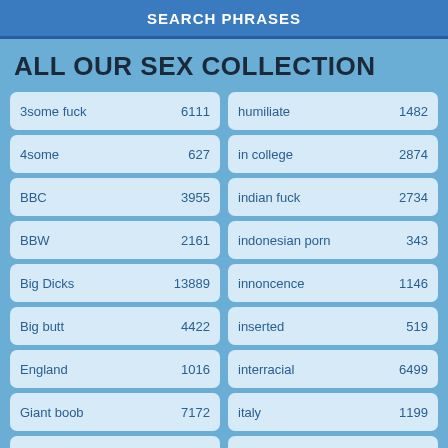SEARCH PHRASES
ALL OUR SEX COLLECTION
| Term | Count | Term | Count |
| --- | --- | --- | --- |
| 3some fuck | 6111 | humiliate | 1482 |
| 4some | 627 | in college | 2874 |
| BBC | 3955 | indian fuck | 2734 |
| BBW | 2161 | indonesian porn | 343 |
| Big Dicks | 13889 | innoncence | 1146 |
| Big butt | 4422 | inserted | 519 |
| England | 1016 | interracial | 6499 |
| Giant boob | 7172 | italy | 1199 |
| HD | 6999 | japaneses | 3969 |
| Indian bhabhi | 858 | jav | 1278 |